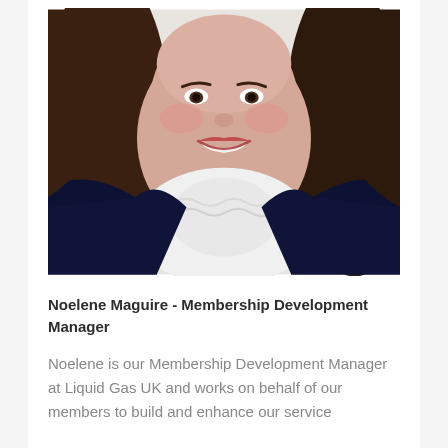[Figure (photo): Headshot photo of Noelene Maguire, a woman with long brown hair, smiling, wearing a white ruffled turtleneck and dark navy blazer, against a light background.]
Noelene Maguire - Membership Development Manager
Noelene is our Membership Development Manager at Liquid Gas UK and works on behalf of our members to build and enhance our service